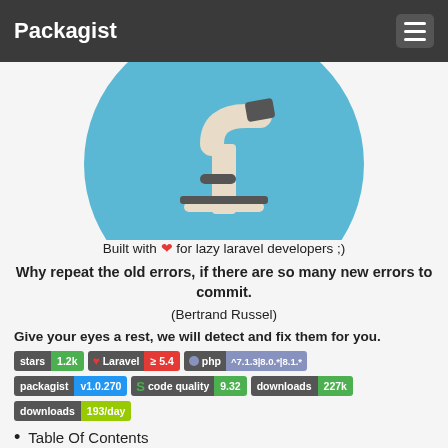Packagist
[Figure (illustration): Microscope illustration on light blue circular background, partially cropped at top]
Built with ❤ for lazy laravel developers ;)
Why repeat the old errors, if there are so many new errors to commit.
(Bertrand Russel)
Give your eyes a rest, we will detect and fix them for you.
[Figure (other): Badges row 1: stars 1.2k | Laravel ≥ 5.4 | php ^7.1.3|8.0.*|8.1.*]
[Figure (other): Badges row 2: packagist v1.0.270 | code quality 9.32 | downloads 227k]
[Figure (other): Badges row 3: downloads 193/day]
Table Of Contents